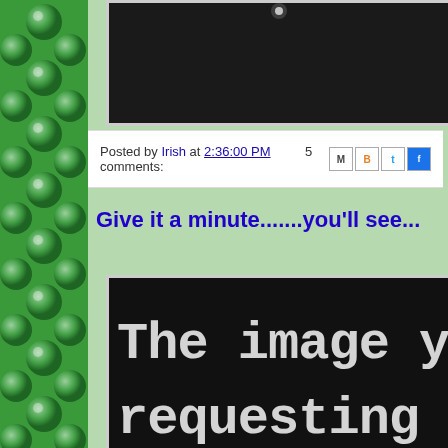[Figure (photo): Black background image with a small light element at top center, partially cropped]
Posted by Irish at 2:36:00 PM   5 comments:
Give it a minute.......you'll see...
[Figure (photo): Black background image with white blocky text reading 'The image you requesting doe...' (cropped)]